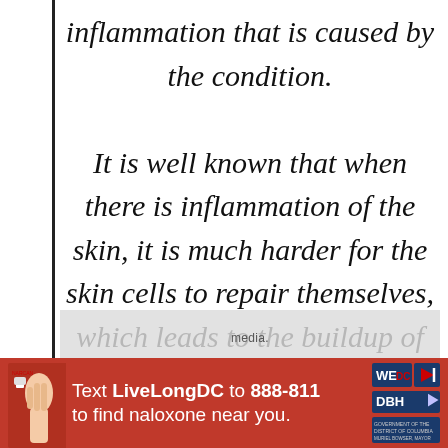inflammation that is caused by the condition. It is well known that when there is inflammation of the skin, it is much harder for the skin cells to repair themselves, which leads to the buildup of more collagen
[Figure (other): Overlay advertisement partially obscuring text, showing 'media.' text in center]
[Figure (other): Red banner advertisement: Text LiveLongDC to 888-811 to find naloxone near you. Includes a hand holding a naloxone injector on the left and WE DC / DBH logos on the right.]